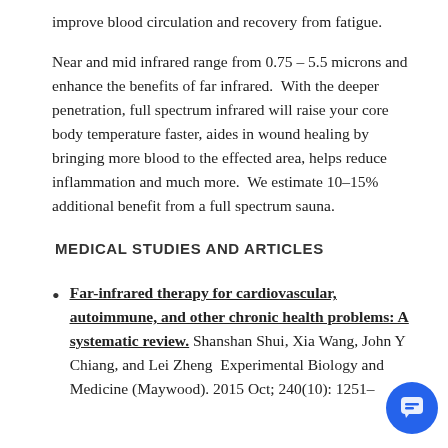improve blood circulation and recovery from fatigue.
Near and mid infrared range from 0.75 – 5.5 microns and enhance the benefits of far infrared.  With the deeper penetration, full spectrum infrared will raise your core body temperature faster, aides in wound healing by bringing more blood to the effected area, helps reduce inflammation and much more.  We estimate 10–15% additional benefit from a full spectrum sauna.
MEDICAL STUDIES AND ARTICLES
Far-infrared therapy for cardiovascular, autoimmune, and other chronic health problems: A systematic review. Shanshan Shui, Xia Wang, John Y Chiang, and Lei Zheng  Experimental Biology and Medicine (Maywood). 2015 Oct; 240(10): 1251–1285.